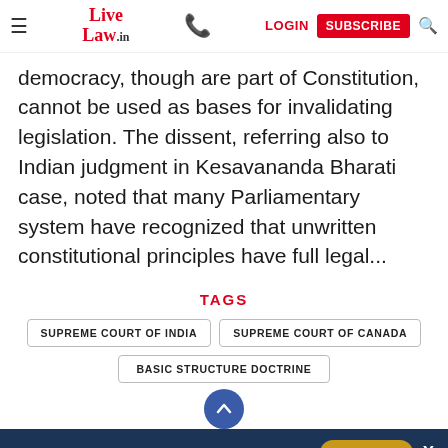Live Law | LOGIN | SUBSCRIBE
democracy, though are part of Constitution, cannot be used as bases for invalidating legislation. The dissent, referring also to Indian judgment in Kesavananda Bharati case, noted that many Parliamentary system have recognized that unwritten constitutional principles have full legal...
TAGS
SUPREME COURT OF INDIA
SUPREME COURT OF CANADA
BASIC STRUCTURE DOCTRINE
Live Law subscriptions starting ₹ 899 +GST  X
LAW FIRMS  + MORE